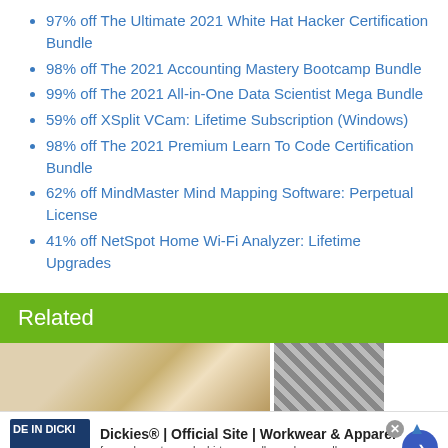97% off The Ultimate 2021 White Hat Hacker Certification Bundle
98% off The 2021 Accounting Mastery Bootcamp Bundle
99% off The 2021 All-in-One Data Scientist Mega Bundle
59% off XSplit VCam: Lifetime Subscription (Windows)
98% off The 2021 Premium Learn To Code Certification Bundle
62% off MindMaster Mind Mapping Software: Perpetual License
41% off NetSpot Home Wi-Fi Analyzer: Lifetime Upgrades
Related
[Figure (photo): Photograph of a hand holding a small blue object on a wooden surface, with a checkered/grey pattern image to the right]
[Figure (infographic): Advertisement for Dickies workwear: logo on left, title 'Dickies® | Official Site | Workwear & Apparel', description 'for work pants, work shirts, overalls, and coveralls.', URL www.dickies.com, close button and arrow button on right]